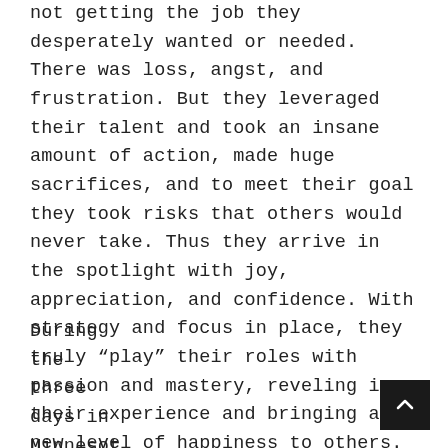not getting the job they desperately wanted or needed. There was loss, angst, and frustration. But they leveraged their talent and took an insane amount of action, made huge sacrifices, and to meet their goal they took risks that others would never take. Thus they arrive in the spotlight with joy, appreciation, and confidence. With strategy and focus in place, they truly “play” their roles with passion and mastery, reveling in their experience and bringing a new level of happiness to others. Their dedication is truly inspiring.
During the three days in Minnesot